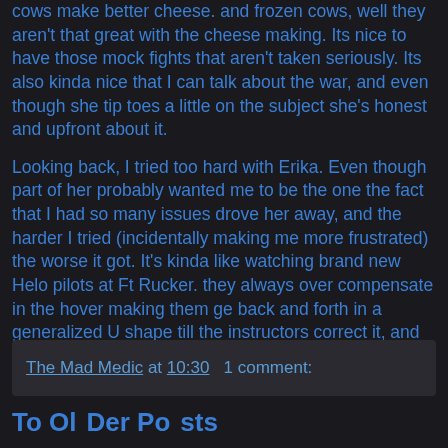cows make better cheese. and frozen cows, well they aren't that great with the cheese making. Its nice to have those mock fights that aren't taken seriously. Its also kinda nice that I can talk about the war, and even though she tip toes a little on the subject she's honest and upfront about it.
Looking back, I tried too hard with Erika. Even though part of her probably wanted me to be the one the fact that I had so many issues drove her away, and the harder I tried (incidentally making me more frustrated) the worse it got. It's kinda like watching brand new Helo pilots at Ft Rucker. they always over compensate in the hover making them ge back and forth in a generalized U shape till the instructors correct it, and bring it back to a hover. Good news is that this, whatever it is is still kinda new. Haven't really broached anything too out there yet. Hopefully the drugs do their job and I'm not super crazy.
The Mad Medic at 10:30   1 comment:
To Older Posts